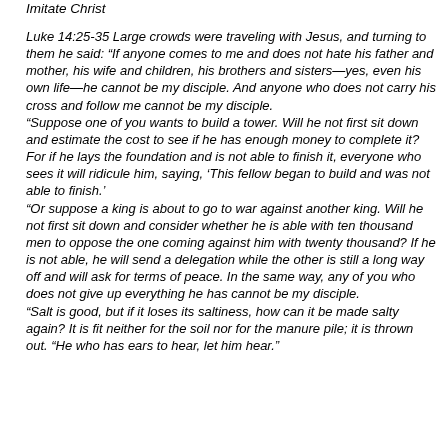Imitate Christ
Luke 14:25-35 Large crowds were traveling with Jesus, and turning to them he said: “If anyone comes to me and does not hate his father and mother, his wife and children, his brothers and sisters—yes, even his own life—he cannot be my disciple. And anyone who does not carry his cross and follow me cannot be my disciple. “Suppose one of you wants to build a tower. Will he not first sit down and estimate the cost to see if he has enough money to complete it? For if he lays the foundation and is not able to finish it, everyone who sees it will ridicule him, saying, ‘This fellow began to build and was not able to finish.’ “Or suppose a king is about to go to war against another king. Will he not first sit down and consider whether he is able with ten thousand men to oppose the one coming against him with twenty thousand? If he is not able, he will send a delegation while the other is still a long way off and will ask for terms of peace. In the same way, any of you who does not give up everything he has cannot be my disciple. “Salt is good, but if it loses its saltiness, how can it be made salty again? It is fit neither for the soil nor for the manure pile; it is thrown out. “He who has ears to hear, let him hear.”